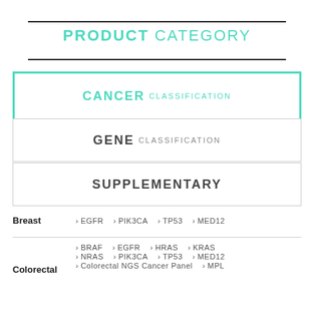PRODUCT CATEGORY
CANCER CLASSIFICATION
GENE CLASSIFICATION
SUPPLEMENTARY
Breast › EGFR › PIK3CA › TP53 › MED12
Colorectal › BRAF › EGFR › HRAS › KRAS › NRAS › PIK3CA › TP53 › MED12 › Colorectal NGS Cancer Panel › MPL